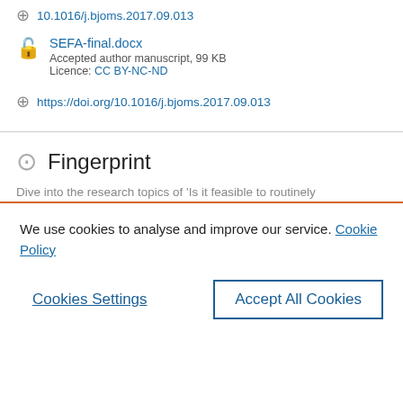10.1016/j.bjoms.2017.09.013
SEFA-final.docx
Accepted author manuscript, 99 KB
Licence: CC BY-NC-ND
https://doi.org/10.1016/j.bjoms.2017.09.013
Fingerprint
Dive into the research topics of 'Is it feasible to routinely
We use cookies to analyse and improve our service. Cookie Policy
Cookies Settings
Accept All Cookies